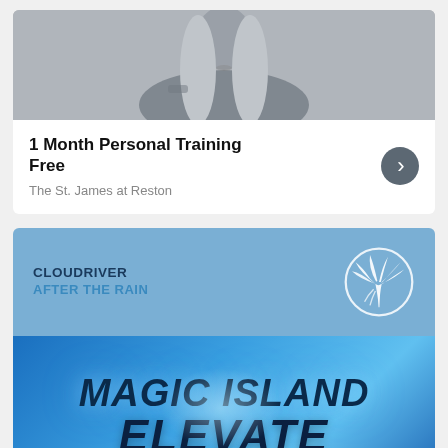[Figure (photo): Photo of a woman with long light hair and tattoos, wearing a sleeveless top, with a grey background]
1 Month Personal Training Free
The St. James at Reston
[Figure (logo): Cloudriver After The Rain banner with palm tree logo on blue background. Text: CLOUDRIVER / AFTER THE RAIN]
[Figure (illustration): Magic Island Elevate album art on blue gradient background with bold dark italic text MAGIC ISLAND and ELEVATE]